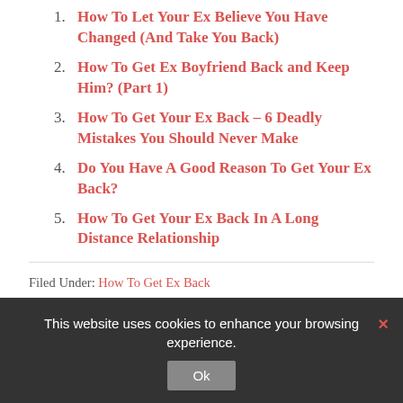How To Let Your Ex Believe You Have Changed (And Take You Back)
How To Get Ex Boyfriend Back and Keep Him? (Part 1)
How To Get Your Ex Back – 6 Deadly Mistakes You Should Never Make
Do You Have A Good Reason To Get Your Ex Back?
How To Get Your Ex Back In A Long Distance Relationship
Filed Under: How To Get Ex Back
Tagged With: ex drinking after breakup, ex drinking heavily after breakup, ex is drinking a lot, ex partying a lot after
This website uses cookies to enhance your browsing experience. Ok ×